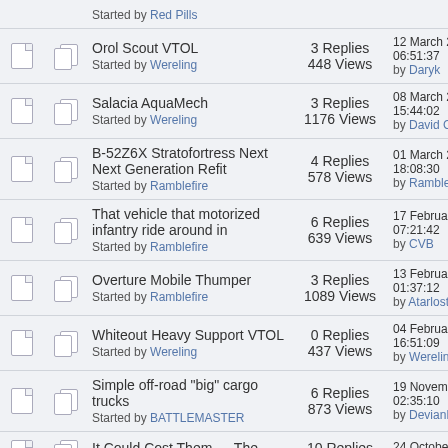|  |  | Topic | Stats | Last Post |
| --- | --- | --- | --- | --- |
|  |  | Orol Scout VTOL
Started by Wereling | 3 Replies
448 Views | 12 March 202
06:51:37
by Daryk |
|  |  | Salacia AquaMech
Started by Wereling | 3 Replies
1176 Views | 08 March 202
15:44:02
by David CGB |
|  |  | B-52Z6X Stratofortress Next Next Generation Refit
Started by Ramblefire | 4 Replies
578 Views | 01 March 202
18:08:30
by Ramblefire |
|  |  | That vehicle that motorized infantry ride around in
Started by Ramblefire | 6 Replies
639 Views | 17 February 2
07:21:42
by CVB |
|  |  | Overture Mobile Thumper
Started by Ramblefire | 3 Replies
1089 Views | 13 February 2
01:37:12
by Atarlost |
|  |  | Whiteout Heavy Support VTOL
Started by Wereling | 0 Replies
437 Views | 04 February 2
16:51:09
by Wereling |
|  |  | Simple off-road "big" cargo trucks
Started by BATTLEMASTER | 6 Replies
873 Views | 19 November
02:35:10
by DevianID |
|  |  | It Could Cost Them … The
… | 10 Replies | 24 October 20
14:06:25 |